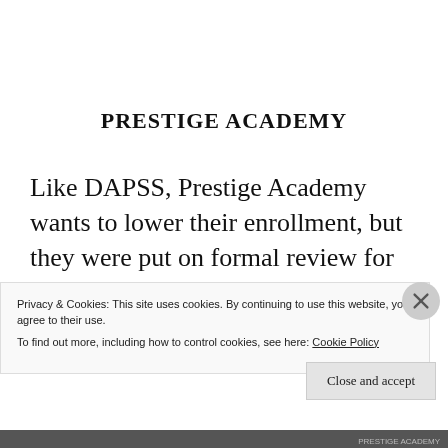PRESTIGE ACADEMY
Like DAPSS, Prestige Academy wants to lower their enrollment, but they were put on formal review for this last spring along with academic concerns.  As the
Privacy & Cookies: This site uses cookies. By continuing to use this website, you agree to their use.
To find out more, including how to control cookies, see here: Cookie Policy
Close and accept